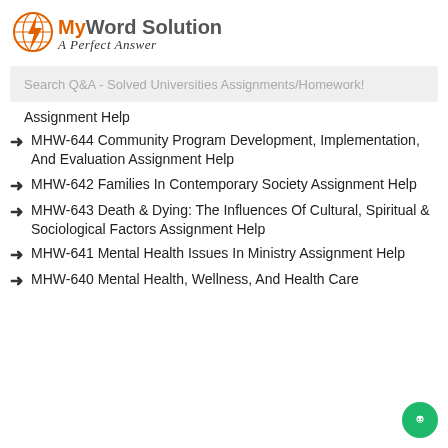[Figure (logo): MyWordSolution logo with orange lightning bolt globe icon and tagline 'A Perfect Answer']
Search Q&A - Solved Universities Assignments/Homework!
Assignment Help
MHW-644 Community Program Development, Implementation, And Evaluation Assignment Help
MHW-642 Families In Contemporary Society Assignment Help
MHW-643 Death & Dying: The Influences Of Cultural, Spiritual & Sociological Factors Assignment Help
MHW-641 Mental Health Issues In Ministry Assignment Help
MHW-640 Mental Health, Wellness, And Health Care